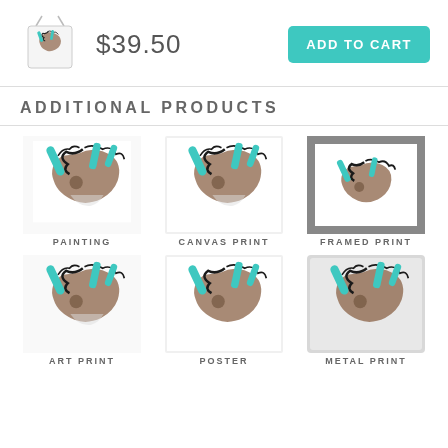[Figure (screenshot): Shopping bag product image thumbnail with horse painting art]
$39.50
ADD TO CART
ADDITIONAL PRODUCTS
[Figure (photo): Horse painting product image - PAINTING]
PAINTING
[Figure (photo): Horse canvas print product image - CANVAS PRINT]
CANVAS PRINT
[Figure (photo): Horse framed print product image - FRAMED PRINT]
FRAMED PRINT
[Figure (photo): Horse art print product image - ART PRINT]
ART PRINT
[Figure (photo): Horse poster product image - POSTER]
POSTER
[Figure (photo): Horse metal print product image - METAL PRINT]
METAL PRINT